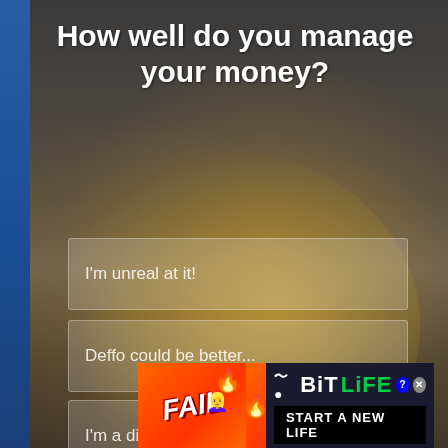How well do you manage your money?
I'm unreal at it!
Deffo could be better...
I'm a disgrace, frankly
[Figure (infographic): BitLife mobile game advertisement banner with 'FAIL' text, cartoon character, fire emoji, snake logo, 'BiTLiFE' logo, and 'START A NEW LIFE' text on black background]